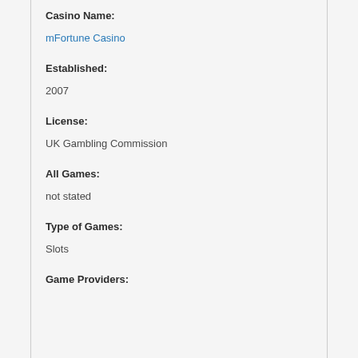Casino Name:
mFortune Casino
Established:
2007
License:
UK Gambling Commission
All Games:
not stated
Type of Games:
Slots
Game Providers: